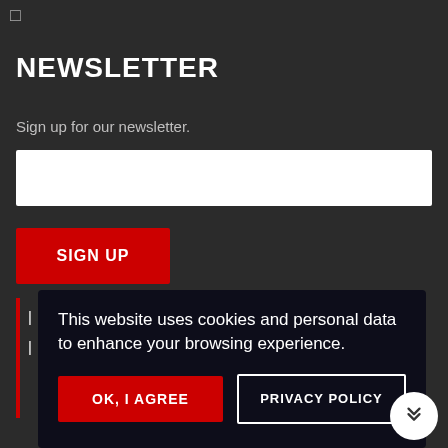□
NEWSLETTER
Sign up for our newsletter.
Email
SIGN UP
This website uses cookies and personal data to enhance your browsing experience.
OK, I AGREE
PRIVACY POLICY